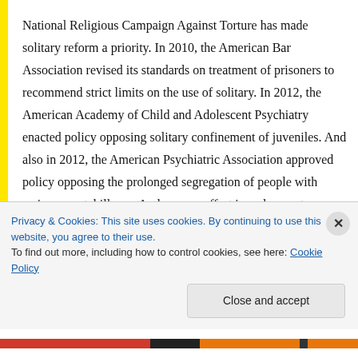National Religious Campaign Against Torture has made solitary reform a priority. In 2010, the American Bar Association revised its standards on treatment of prisoners to recommend strict limits on the use of solitary. In 2012, the American Academy of Child and Adolescent Psychiatry enacted policy opposing solitary confinement of juveniles. And also in 2012, the American Psychiatric Association approved policy opposing the prolonged segregation of people with serious mental illness. And now an effort is underway to amend the American Institute of Architects' Code of Ethics to prohibit the design of facilities intended for
Privacy & Cookies: This site uses cookies. By continuing to use this website, you agree to their use.
To find out more, including how to control cookies, see here: Cookie Policy
Close and accept